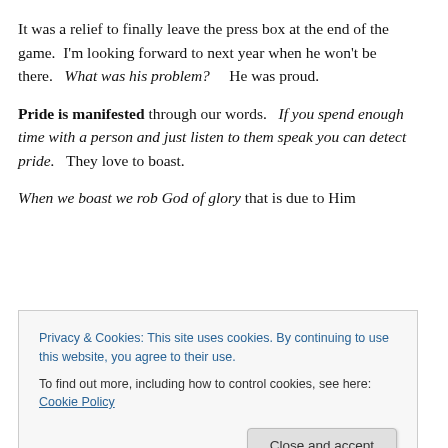It was a relief to finally leave the press box at the end of the game.  I'm looking forward to next year when he won't be there.   What was his problem?     He was proud.
Pride is manifested through our words.   If you spend enough time with a person and just listen to them speak you can detect pride.   They love to boast.
When we boast we rob God of glory that is due to Him
Privacy & Cookies: This site uses cookies. By continuing to use this website, you agree to their use.
To find out more, including how to control cookies, see here: Cookie Policy
of them is that he not be a young Christian, or a "novice"